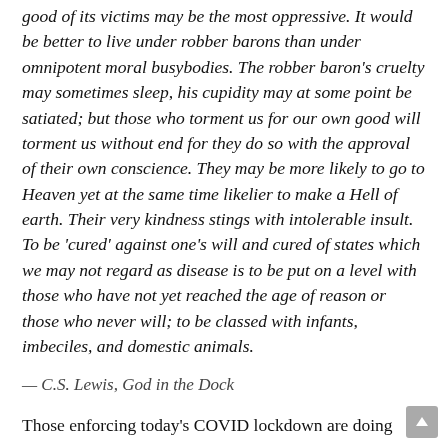good of its victims may be the most oppressive. It would be better to live under robber barons than under omnipotent moral busybodies. The robber baron's cruelty may sometimes sleep, his cupidity may at some point be satiated; but those who torment us for our own good will torment us without end for they do so with the approval of their own conscience. They may be more likely to go to Heaven yet at the same time likelier to make a Hell of earth. Their very kindness stings with intolerable insult. To be 'cured' against one's will and cured of states which we may not regard as disease is to be put on a level with those who have not yet reached the age of reason or those who never will; to be classed with infants, imbeciles, and domestic animals.
— C.S. Lewis, God in the Dock
Those enforcing today's COVID lockdown are doing